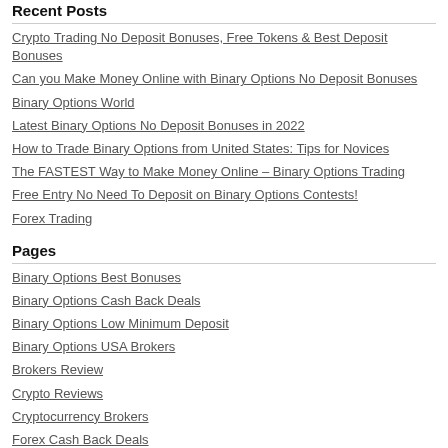Recent Posts
Crypto Trading No Deposit Bonuses, Free Tokens & Best Deposit Bonuses
Can you Make Money Online with Binary Options No Deposit Bonuses
Binary Options World
Latest Binary Options No Deposit Bonuses in 2022
How to Trade Binary Options from United States: Tips for Novices
The FASTEST Way to Make Money Online – Binary Options Trading
Free Entry No Need To Deposit on Binary Options Contests!
Forex Trading
Pages
Binary Options Best Bonuses
Binary Options Cash Back Deals
Binary Options Low Minimum Deposit
Binary Options USA Brokers
Brokers Review
Crypto Reviews
Cryptocurrency Brokers
Forex Cash Back Deals
GAMBLING
Home